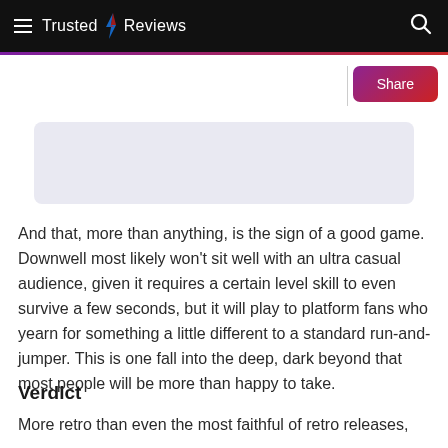≡ Trusted ⚡ Reviews 🔍
[Figure (screenshot): Trusted Reviews website navigation bar with logo, hamburger menu, and search icon on black background. Share button with purple-to-red gradient. Light blue-grey placeholder image area.]
And that, more than anything, is the sign of a good game. Downwell most likely won't sit well with an ultra casual audience, given it requires a certain level skill to even survive a few seconds, but it will play to platform fans who yearn for something a little different to a standard run-and-jumper. This is one fall into the deep, dark beyond that most people will be more than happy to take.
Verdict
More retro than even the most faithful of retro releases,